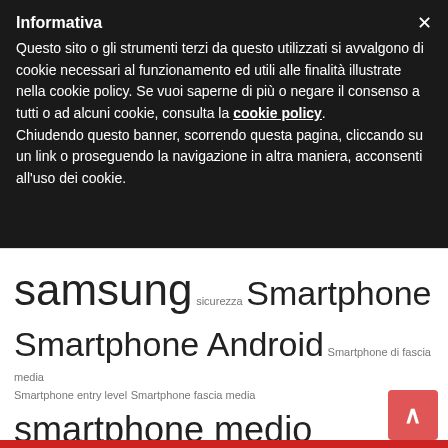Informativa
Questo sito o gli strumenti terzi da questo utilizzati si avvalgono di cookie necessari al funzionamento ed utili alle finalità illustrate nella cookie policy. Se vuoi saperne di più o negare il consenso a tutti o ad alcuni cookie, consulta la cookie policy. Chiudendo questo banner, scorrendo questa pagina, cliccando su un link o proseguendo la navigazione in altra maniera, acconsenti all'uso dei cookie.
samsung sicurezza Smartphone Smartphone Android Smartphone di fascia media Smartphone entry level Smartphone fascia media smartphone medio gamma smartphone midrange smartphone pieghevoli Smartphone top di gamma social network Tablet Telegram WhatsApp Windows Xiaomi